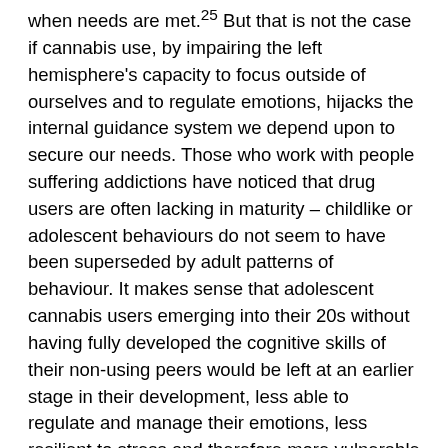when needs are met.25 But that is not the case if cannabis use, by impairing the left hemisphere's capacity to focus outside of ourselves and to regulate emotions, hijacks the internal guidance system we depend upon to secure our needs. Those who work with people suffering addictions have noticed that drug users are often lacking in maturity – childlike or adolescent behaviours do not seem to have been superseded by adult patterns of behaviour. It makes sense that adolescent cannabis users emerging into their 20s without having fully developed the cognitive skills of their non-using peers would be left at an earlier stage in their development, less able to regulate and manage their emotions, less resilient to stress and therefore more vulnerable to mental health problems.
Strange dreams
Because cannabis inhibits dopamine production and transmission it should come as no surprise that it suppresses expectation (motivation). A widely reported cannabis withdrawal symptom is the occurrence of strange dreams. An explanation could be that, with cannabis no longer inhibiting